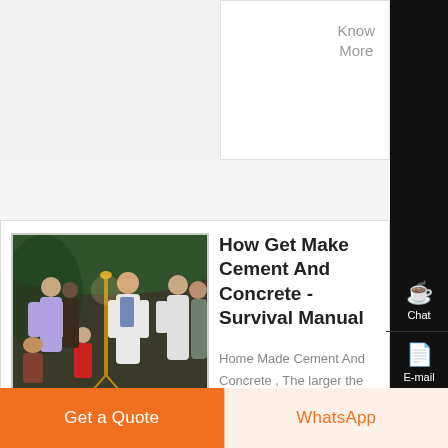Know More
[Figure (photo): Photo of people at a gathering or event, with women in traditional Indian attire and a child in red.]
How Get Make Cement And Concrete - Survival Manual
Home Made Cement And Concrete , The larger the rocks the higher the
Get a Quote
WhatsApp